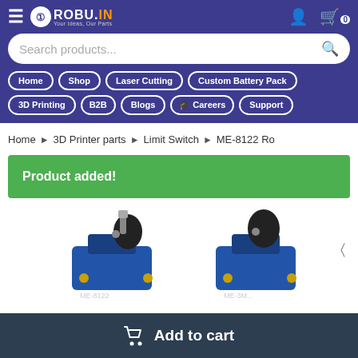ROBU.IN — Your Ideas, Our Parts — Navigation header with Home, Shop, Laser Cutting, Custom Battery Pack, 3D Printing, B2B, Blogs, Careers, Support
Search products...
Home > 3D Printer parts > Limit Switch > ME-8122 Ro
Product added!
[Figure (photo): Two blue roller lever limit switches (ME-8122) partially visible at the bottom of the page]
Add to cart